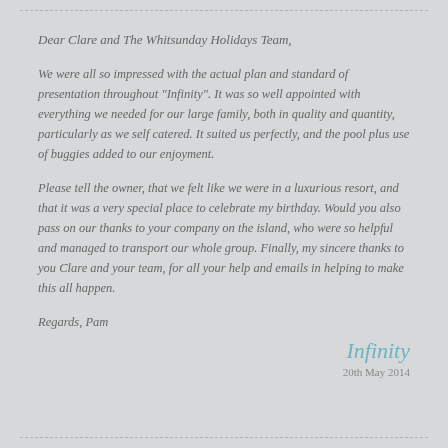Dear Clare and The Whitsunday Holidays Team,
We were all so impressed with the actual plan and standard of presentation throughout "Infinity". It was so well appointed with everything we needed for our large family, both in quality and quantity, particularly as we self catered. It suited us perfectly, and the pool plus use of buggies added to our enjoyment.
Please tell the owner, that we felt like we were in a luxurious resort, and that it was a very special place to celebrate my birthday. Would you also pass on our thanks to your company on the island, who were so helpful and managed to transport our whole group. Finally, my sincere thanks to you Clare and your team, for all your help and emails in helping to make this all happen.
Regards, Pam
Infinity
20th May 2014